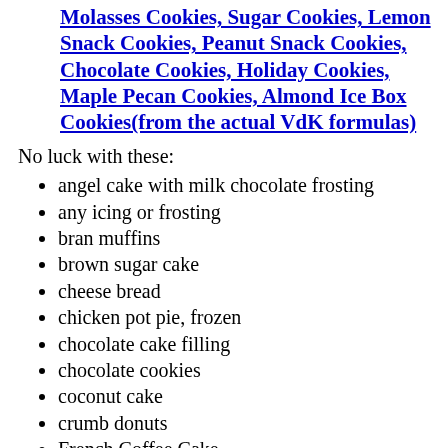Molasses Cookies, Sugar Cookies, Lemon Snack Cookies, Peanut Snack Cookies, Chocolate Cookies, Holiday Cookies, Maple Pecan Cookies, Almond Ice Box Cookies(from the actual VdK formulas)
No luck with these:
angel cake with milk chocolate frosting
any icing or frosting
bran muffins
brown sugar cake
cheese bread
chicken pot pie, frozen
chocolate cake filling
chocolate cookies
coconut cake
crumb donuts
French Coffee Cake
fruit cake for employees
gluten free bread
holiday cookies